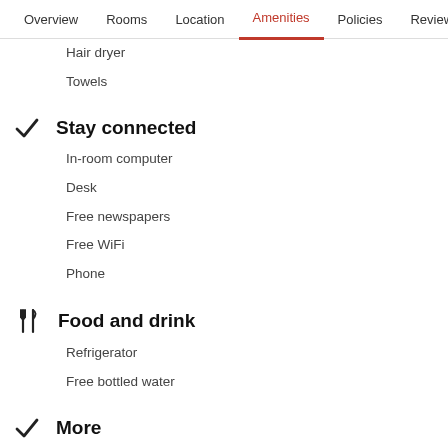Overview  Rooms  Location  Amenities  Policies  Reviews
Hair dryer
Towels
Stay connected
In-room computer
Desk
Free newspapers
Free WiFi
Phone
Food and drink
Refrigerator
Free bottled water
More
Daily housekeeping
In-room safe